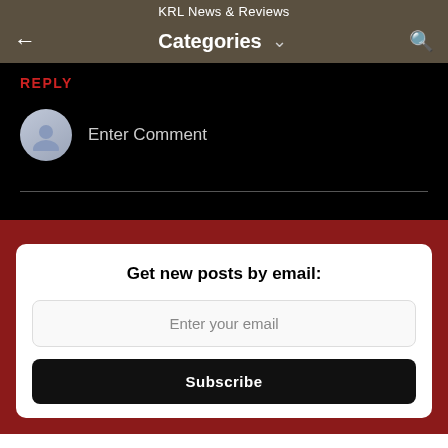KRL News & Reviews
Categories
REPLY
Enter Comment
Get new posts by email:
Enter your email
Subscribe